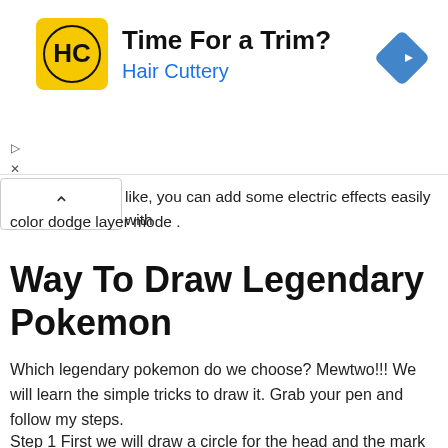[Figure (other): Advertisement banner for Hair Cuttery with logo, heading 'Time For a Trim?', subtitle 'Hair Cuttery', and a blue diamond navigation arrow icon on the right]
like, you can add some electric effects easily with color dodge layer mode .
Way To Draw Legendary Pokemon
Which legendary pokemon do we choose? Mewtwo!!! We will learn the simple tricks to draw it. Grab your pen and follow my steps.
Step 1 First we will draw a circle for the head and the mark the facial outlines. In the next step, we will draw a long tilted line for the chests line of position and then larger circle for